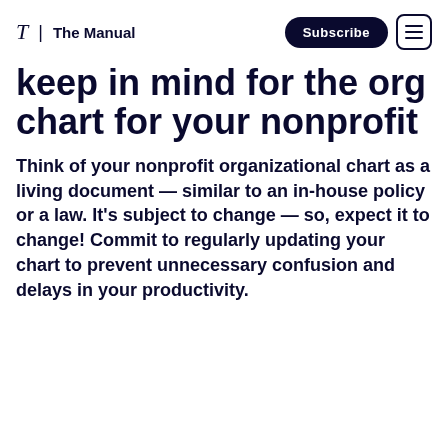T | The Manual  Subscribe ☰
keep in mind for the org chart for your nonprofit
Think of your nonprofit organizational chart as a living document — similar to an in-house policy or a law. It's subject to change — so, expect it to change! Commit to regularly updating your chart to prevent unnecessary confusion and delays in your productivity.